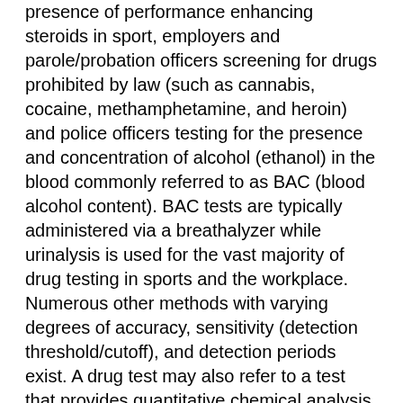presence of performance enhancing steroids in sport, employers and parole/probation officers screening for drugs prohibited by law (such as cannabis, cocaine, methamphetamine, and heroin) and police officers testing for the presence and concentration of alcohol (ethanol) in the blood commonly referred to as BAC (blood alcohol content). BAC tests are typically administered via a breathalyzer while urinalysis is used for the vast majority of drug testing in sports and the workplace. Numerous other methods with varying degrees of accuracy, sensitivity (detection threshold/cutoff), and detection periods exist. A drug test may also refer to a test that provides quantitative chemical analysis of an illegal drug, typically intended to help with responsible drug use.
More Information About Mobile Drug Testing in Landis, AR
Mobile Drug Testing can also provide instant drug tests,